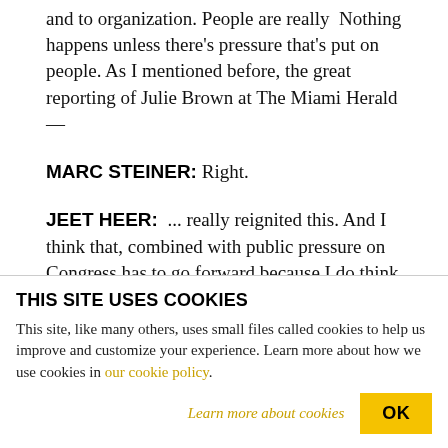and to organization. People are really Nothing happens unless there's pressure that's put on people. As I mentioned before, the great reporting of Julie Brown at The Miami Herald—
MARC STEINER: Right.
JEET HEER:  ... really reignited this. And I think that, combined with public pressure on Congress has to go forward because I do think that there's a reluctance of people in power to go too far because
THIS SITE USES COOKIES
This site, like many others, uses small files called cookies to help us improve and customize your experience. Learn more about how we use cookies in our cookie policy.
Learn more about cookies   OK